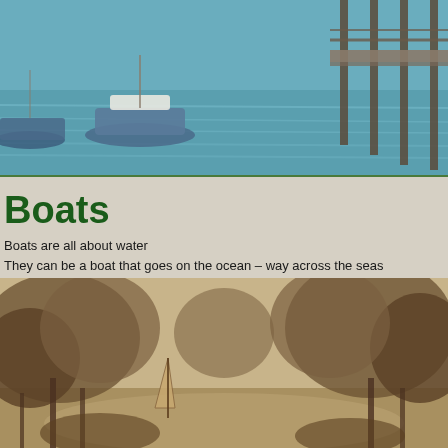[Figure (photo): Colour photograph of boats moored at a wooden pier/jetty over blue water]
Boats
Boats are all about water
They can be a boat that goes on the ocean – way across the seas
Or a boat that goes on the rivers – a ferry if you please
They can even be something small enough, a dinghy, to navigate Mc'Carrs Creek
[Figure (photo): Sepia historical photograph of trees and a creek or waterway, with a small boat visible among the trees]